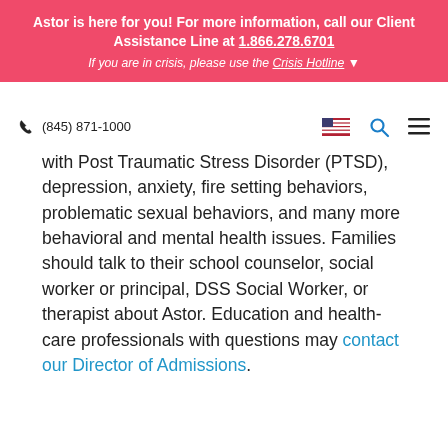Astor is here for you! For more information, call our Client Assistance Line at 1.866.278.6701
If you are in crisis, please use the Crisis Hotline
(845) 871-1000
with Post Traumatic Stress Disorder (PTSD), depression, anxiety, fire setting behaviors, problematic sexual behaviors, and many more behavioral and mental health issues. Families should talk to their school counselor, social worker or principal, DSS Social Worker, or therapist about Astor. Education and health-care professionals with questions may contact our Director of Admissions.